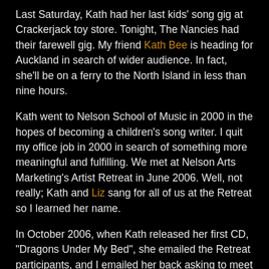Last Saturday, Kath had her last kids' song gig at Crackerjack toy store. Tonight, The Nancies had their farewell gig. My friend Kath Bee is heading for Auckland in search of wider audience. In fact, she'll be on a ferry to the North Island in less than nine hours.
Kath went to Nelson School of Music in 2000 in the hopes of becoming a children's song writer. I quit my office job in 2000 in search of something more meaningful and fulfilling. We met at Nelson Arts Marketing's Artist Retreat in June 2006. Well, not really; Kath and Liz sang for all of us at the Retreat so I learned her name.
In October 2006, when Kath released her first CD, "Dragons Under My Bed", she emailed the Retreat participants, and I emailed her back asking to meet her to buy her CD; that's when we met. Back then, she was looking for gigs and ways to promote her CD, and I was working towards my first solo exhibition, so I always felt as if we were two babies born in